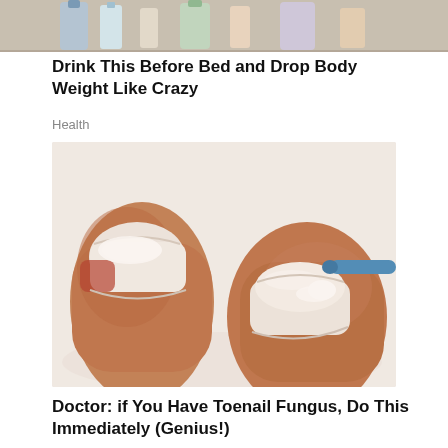[Figure (photo): Partial top strip of an image showing product bottles/containers on a surface, cropped at the top of the page]
Drink This Before Bed and Drop Body Weight Like Crazy
Health
[Figure (photo): Close-up illustrated/stylized photo of two big toes with toenails, one showing white cream/substance applied with a blue applicator brush, suggesting toenail fungus treatment]
Doctor: if You Have Toenail Fungus, Do This Immediately (Genius!)